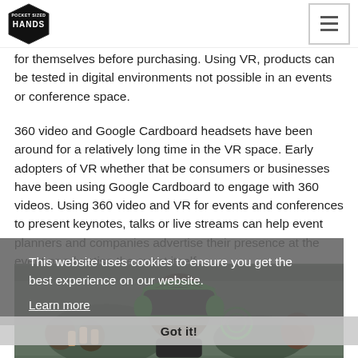Pocket Sized Hands [logo] | Menu button
for themselves before purchasing. Using VR, products can be tested in digital environments not possible in an events or conference space.
360 video and Google Cardboard headsets have been around for a relatively long time in the VR space. Early adopters of VR whether that be consumers or businesses have been using Google Cardboard to engage with 360 videos. Using 360 video and VR for events and conferences to present keynotes, talks or live streams can help event planners and companies advertise their presence at the event or advertise the event itself.
[Figure (photo): Person wearing a green VR/gaming headset at what appears to be a gaming event or conference, with other people visible in the background.]
This website uses cookies to ensure you get the best experience on our website.
Learn more
Got it!